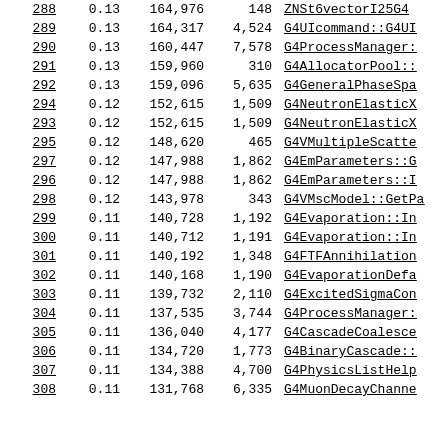| Rank | % | Calls | Self | Function |
| --- | --- | --- | --- | --- |
| 288 | 0.13 | 164,976 | 148 | ZNSt6vectorI25G4... |
| 289 | 0.13 | 164,317 | 4,524 | G4UIcommand::G4UI... |
| 290 | 0.13 | 160,447 | 7,578 | G4ProcessManager:... |
| 291 | 0.13 | 159,960 | 310 | G4AllocatorPool::... |
| 292 | 0.13 | 159,096 | 5,635 | G4GeneralPhaseSpa... |
| 294 | 0.12 | 152,615 | 1,509 | G4NeutronElasticX... |
| 293 | 0.12 | 152,615 | 1,509 | G4NeutronElasticX... |
| 295 | 0.12 | 148,620 | 465 | G4VMultipleScatte... |
| 297 | 0.12 | 147,988 | 1,862 | G4EmParameters::G... |
| 296 | 0.12 | 147,988 | 1,862 | G4EmParameters::I... |
| 298 | 0.12 | 143,978 | 343 | G4VMscModel::GetPa... |
| 299 | 0.11 | 140,728 | 1,192 | G4Evaporation::In... |
| 300 | 0.11 | 140,712 | 1,191 | G4Evaporation::In... |
| 301 | 0.11 | 140,192 | 1,348 | G4FTFAnnihilation... |
| 302 | 0.11 | 140,168 | 1,190 | G4EvaporationDefa... |
| 303 | 0.11 | 139,732 | 2,110 | G4ExcitedSigmaCon... |
| 304 | 0.11 | 137,535 | 3,744 | G4ProcessManager:... |
| 305 | 0.11 | 136,040 | 4,177 | G4CascadeCoalesce... |
| 306 | 0.11 | 134,720 | 1,773 | G4BinaryCascade::... |
| 307 | 0.11 | 134,388 | 4,700 | G4PhysicsListHelp... |
| 308 | 0.11 | 131,768 | 6,335 | G4MuonDecayChanne... |